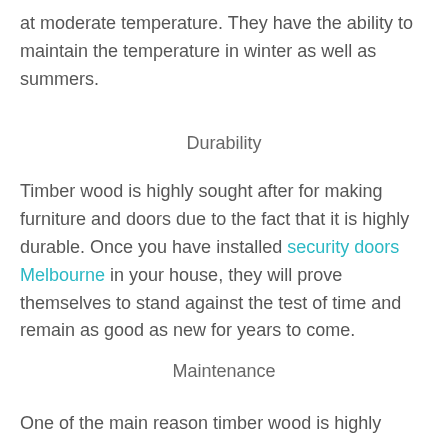at moderate temperature. They have the ability to maintain the temperature in winter as well as summers.
Durability
Timber wood is highly sought after for making furniture and doors due to the fact that it is highly durable. Once you have installed security doors Melbourne in your house, they will prove themselves to stand against the test of time and remain as good as new for years to come.
Maintenance
One of the main reason timber wood is highly